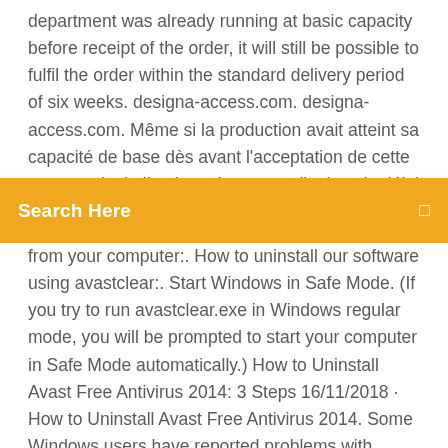department was already running at basic capacity before receipt of the order, it will still be possible to fulfil the order within the standard delivery period of six weeks. designa-access.com. designa-access.com. Même si la production avait atteint sa capacité de base dès avant l'acceptation de cette commande, la livraison des appareils dans le délai de livraison
[Figure (screenshot): Orange search bar UI element with text 'Search Here' on the left and a small icon on the right]
from your computer:. How to uninstall our software using avastclear:. Start Windows in Safe Mode. (If you try to run avastclear.exe in Windows regular mode, you will be prompted to start your computer in Safe Mode automatically.) How to Uninstall Avast Free Antivirus 2014: 3 Steps 16/11/2018 · How to Uninstall Avast Free Antivirus 2014. Some Windows users have reported problems with upgrading the newly installed Avast Free Antivirus client, thus they wanted to uninstall it then reinstall it and their attempts did not resolve